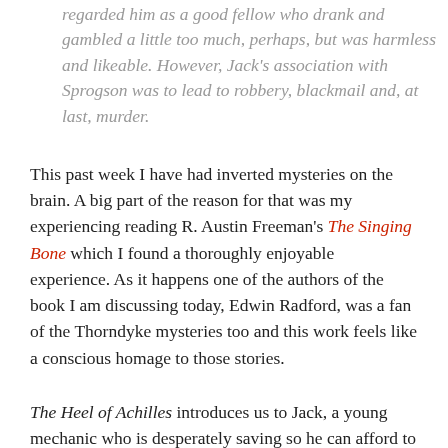regarded him as a good fellow who drank and gambled a little too much, perhaps, but was harmless and likeable. However, Jack's association with Sprogson was to lead to robbery, blackmail and, at last, murder.
This past week I have had inverted mysteries on the brain. A big part of the reason for that was my experiencing reading R. Austin Freeman's The Singing Bone which I found a thoroughly enjoyable experience. As it happens one of the authors of the book I am discussing today, Edwin Radford, was a fan of the Thorndyke mysteries too and this work feels like a conscious homage to those stories.
The Heel of Achilles introduces us to Jack, a young mechanic who is desperately saving so he can afford to open his